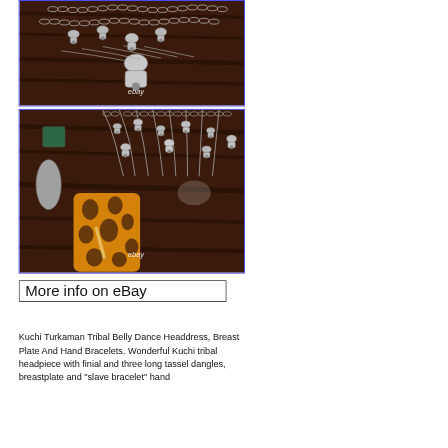[Figure (photo): Photo of silver chain necklace with bell-shaped metallic beads on a dark wooden surface, with eBay watermark]
[Figure (photo): Photo of silver chain jewelry with bell-shaped beads and an orange/amber colored ornate flat pendant piece on a dark wooden surface, with eBay watermark]
More info on eBay
Kuchi Turkaman Tribal Belly Dance Headdress, Breast Plate And Hand Bracelets. Wonderful Kuchi tribal headpiece with finial and three long tassel dangles, breastplate and "slave bracelet" hand